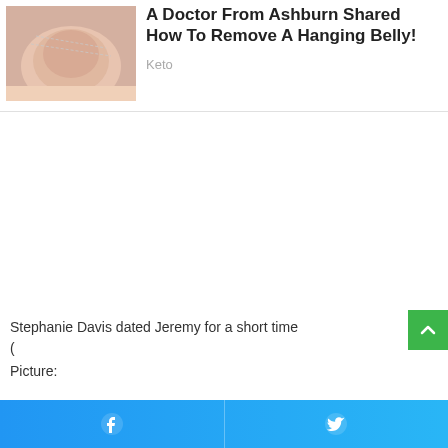A Doctor From Ashburn Shared How To Remove A Hanging Belly!
Keto
[Figure (photo): Close-up photo of a person's abdomen/belly area]
Stephanie Davis dated Jeremy for a short time
(

Picture:
Facebook share | Twitter share